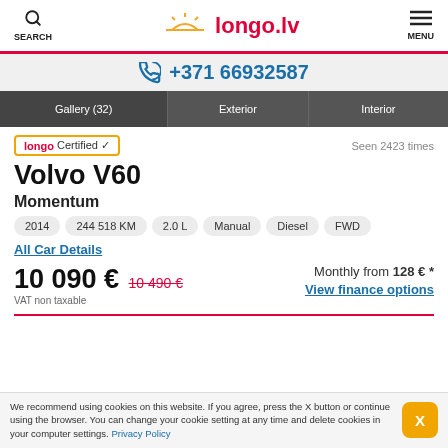SEARCH | longo.lv | MENU
+371 66932587
[Figure (screenshot): Gallery (32) | Exterior | Interior tab bar]
longo Certified ✓ — Seen 2423 times
Volvo V60
Momentum
2014 | 244 518 KM | 2.0 L | Manual | Diesel | FWD
All Car Details
10 090 € (old price: 10 490 €) VAT non taxable — Monthly from 128 € * — View finance options
We recommend using cookies on this website. If you agree, press the X button or continue using the browser. You can change your cookie setting at any time and delete cookies in your computer settings. Privacy Policy